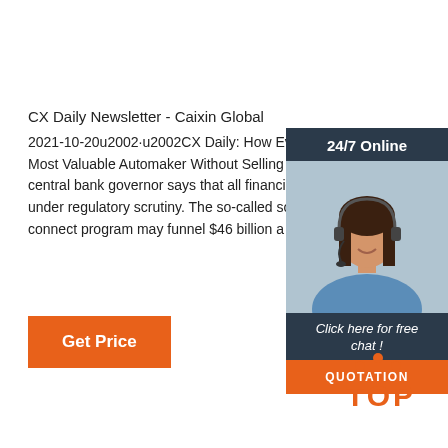CX Daily Newsletter - Caixin Global
2021-10-20u2002·u2002CX Daily: How Evergrande Became the World's Most Valuable Automaker Without Selling A Single C central bank governor says that all financial activities under regulatory scrutiny. The so-called southbound connect program may funnel $46 billion a …
[Figure (other): Orange 'Get Price' button]
[Figure (other): Ad banner with '24/7 Online' label, photo of woman with headset, 'Click here for free chat!' text, and orange 'QUOTATION' button on dark navy background]
[Figure (other): Orange 'TOP' back-to-top icon with dots above letters]